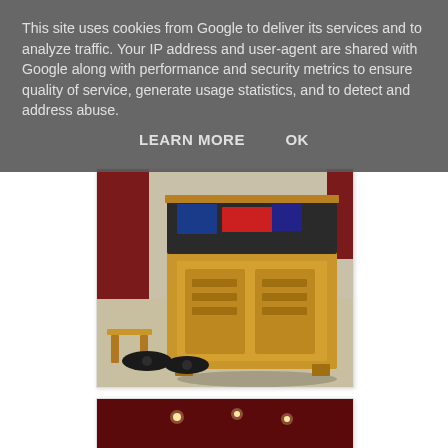This site uses cookies from Google to deliver its services and to analyze traffic. Your IP address and user-agent are shared with Google along with performance and security metrics to ensure quality of service, generate usage statistics, and to detect and address abuse.
LEARN MORE   OK
[Figure (photo): A wooden decorative chest or trunk with ornate carved panels, open lid showing items inside (blue and red objects), sitting on beige carpet in a room with red walls. A small wooden stool and dark slippers are visible in the foreground.]
[Figure (photo): Partial view of another photo showing a dark red/maroon surface with small lights, partially cropped at the bottom of the page.]